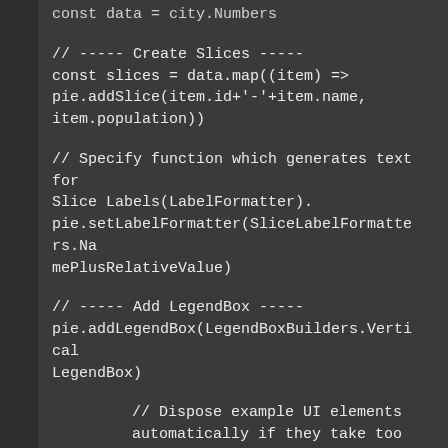const data = city.Numbers
// ----- Create Slices -----
const slices = data.map((item) =>
pie.addSlice(item.id+'-'+item.name,
item.population))
// Specify function which generates text for Slice Labels(LabelFormatter).
pie.setLabelFormatter(SliceLabelFormatters.NamePlusRelativeValue)
// ----- Add LegendBox -----
pie.addLegendBox(LegendBoxBuilders.VerticalLegendBox)
// Dispose example UI elements automatically if they take too much space. This is to avoid bad UI on mobile / etc. devices.
.setAutoDispose({